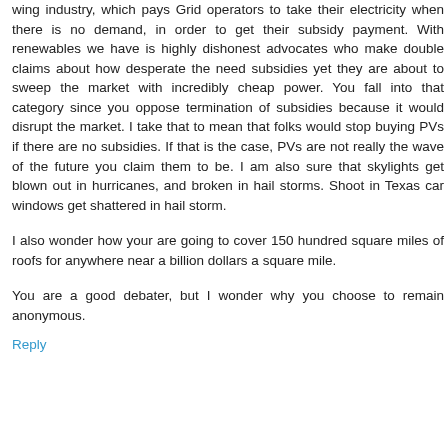wing industry, which pays Grid operators to take their electricity when there is no demand, in order to get their subsidy payment. With renewables we have is highly dishonest advocates who make double claims about how desperate the need subsidies yet they are about to sweep the market with incredibly cheap power. You fall into that category since you oppose termination of subsidies because it would disrupt the market. I take that to mean that folks would stop buying PVs if there are no subsidies. If that is the case, PVs are not really the wave of the future you claim them to be. I am also sure that skylights get blown out in hurricanes, and broken in hail storms. Shoot in Texas car windows get shattered in hail storm.
I also wonder how your are going to cover 150 hundred square miles of roofs for anywhere near a billion dollars a square mile.
You are a good debater, but I wonder why you choose to remain anonymous.
Reply